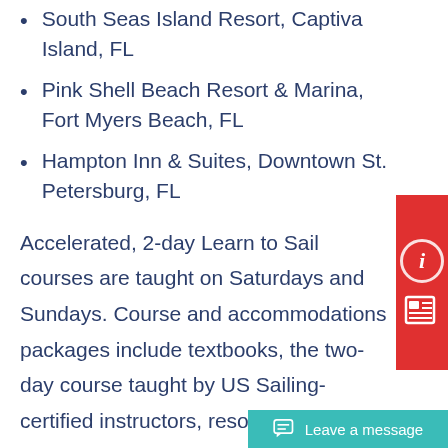South Seas Island Resort, Captiva Island, FL
Pink Shell Beach Resort & Marina, Fort Myers Beach, FL
Hampton Inn & Suites, Downtown St. Petersburg, FL
Accelerated, 2-day Learn to Sail courses are taught on Saturdays and Sundays. Course and accommodations packages include textbooks, the two-day course taught by US Sailing-certified instructors, resort accommodations with taxes and amenity fee, Certificate of Completion, logbook, and US Sailing Basic Keelboat Certification